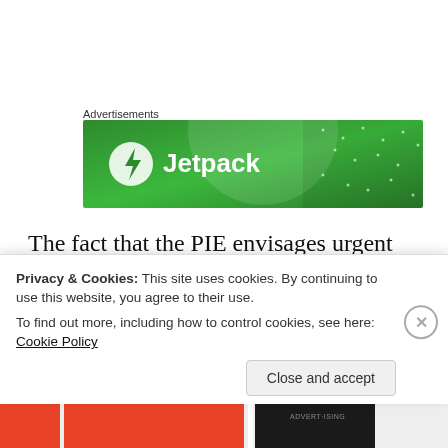Advertisements
[Figure (logo): Jetpack advertisement banner — green background with Jetpack logo (lightning bolt icon in white circle) and text 'Jetpack' in white]
The fact that the PIE envisages urgent eviction proceedings does not change the situation.
An application for an interim order is an interlocutory application and can therefore be
Privacy & Cookies: This site uses cookies. By continuing to use this website, you agree to their use.
To find out more, including how to control cookies, see here: Cookie Policy
Close and accept